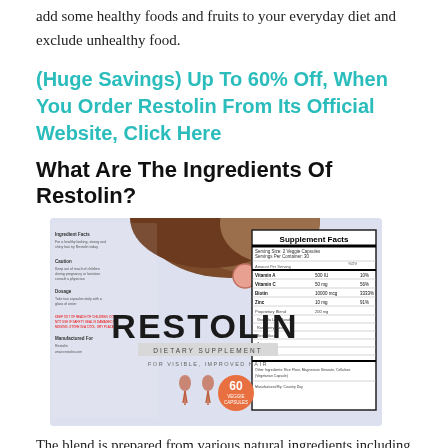add some healthy foods and fruits to your everyday diet and exclude unhealthy food.
(Huge Savings) Up To 60% Off, When You Order Restolin From Its Official Website, Click Here
What Are The Ingredients Of Restolin?
[Figure (photo): Product image of Restolin dietary supplement bottle with supplement facts panel visible on the right side.]
The blend is prepared from various natural ingredients including some extracts and essential nutrients.
Graviola Leaf: It is a kind of ingredient that keeps antibacterial